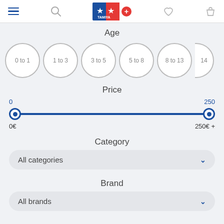[Figure (screenshot): Tamiya mobile app header with hamburger menu, search icon, Tamiya logo with red plus button, heart icon, and bag icon]
Age
[Figure (infographic): Row of age filter circles: 0 to 1, 1 to 3, 3 to 5, 5 to 8, 8 to 13, 14 (partially visible)]
Price
[Figure (infographic): Price range slider from 0 to 250, with handles at both ends. Labels: 0 on left (blue), 250 on right (blue), 0€ bottom left, 250€ + bottom right]
Category
All categories
Brand
All brands